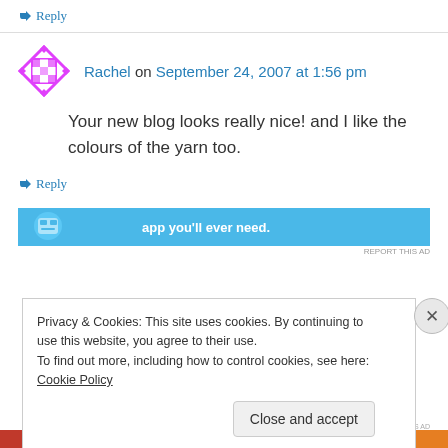↳ Reply
Rachel on September 24, 2007 at 1:56 pm
Your new blog looks really nice! and I like the colours of the yarn too.
↳ Reply
[Figure (screenshot): Partial advertisement banner showing app promotion text on blue background]
REPORT THIS AD
Privacy & Cookies: This site uses cookies. By continuing to use this website, you agree to their use.
To find out more, including how to control cookies, see here: Cookie Policy
Close and accept